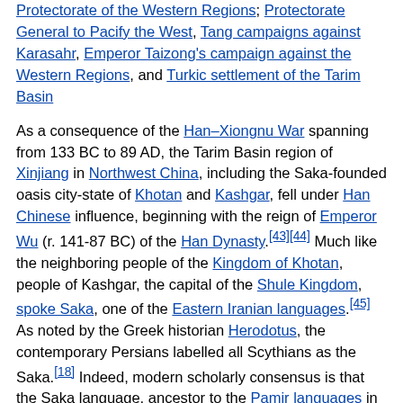Protectorate of the Western Regions; Protectorate General to Pacify the West, Tang campaigns against Karasahr, Emperor Taizong's campaign against the Western Regions, and Turkic settlement of the Tarim Basin
As a consequence of the Han–Xiongnu War spanning from 133 BC to 89 AD, the Tarim Basin region of Xinjiang in Northwest China, including the Saka-founded oasis city-state of Khotan and Kashgar, fell under Han Chinese influence, beginning with the reign of Emperor Wu (r. 141-87 BC) of the Han Dynasty.[43][44] Much like the neighboring people of the Kingdom of Khotan, people of Kashgar, the capital of the Shule Kingdom, spoke Saka, one of the Eastern Iranian languages.[45] As noted by the Greek historian Herodotus, the contemporary Persians labelled all Scythians as the Saka.[18] Indeed, modern scholarly consensus is that the Saka language, ancestor to the Pamir languages in northern India and Khotanese in Xinjiang, China belongs to the Scythian languages.[46]
During China's Tang dynasty (618-907 AD), the region once again came under Chinese suzerainty with the campaigns of conquest by Emperor Taizong of Tang (r. 626-649).[47] From the late 8th to 9th centuries, the region changed hands between the Chinese Tang Empire and the rival Tibetan Empire.[48][49] By the early 11th